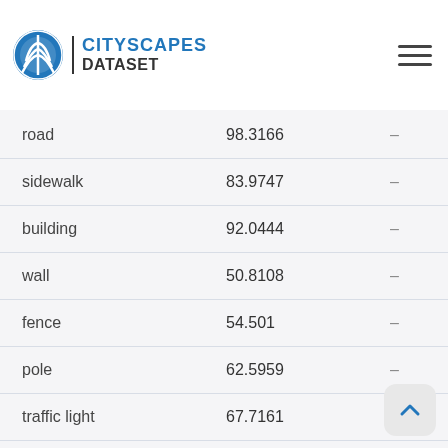Class results — CITYSCAPES DATASET
| Class | IoU | iIoU |
| --- | --- | --- |
| road | 98.3166 | – |
| sidewalk | 83.9747 | – |
| building | 92.0444 | – |
| wall | 50.8108 | – |
| fence | 54.501 | – |
| pole | 62.5959 | – |
| traffic light | 67.7161 | – |
| traffic sign | 73.721 | – |
| vegetation | 92.8241 | – |